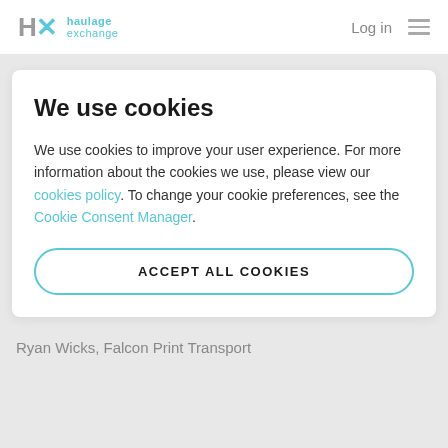HX haulage exchange  Log in
We use cookies
We use cookies to improve your user experience. For more information about the cookies we use, please view our cookies policy. To change your cookie preferences, see the Cookie Consent Manager.
ACCEPT ALL COOKIES
Ryan Wicks, Falcon Print Transport